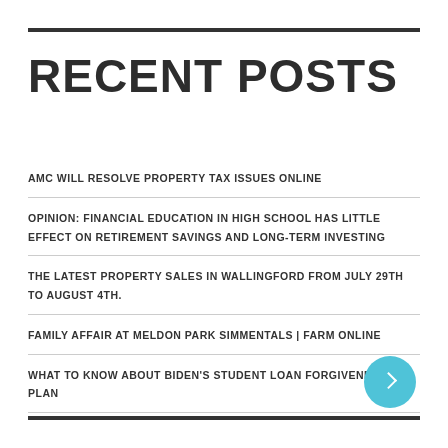RECENT POSTS
AMC WILL RESOLVE PROPERTY TAX ISSUES ONLINE
OPINION: FINANCIAL EDUCATION IN HIGH SCHOOL HAS LITTLE EFFECT ON RETIREMENT SAVINGS AND LONG-TERM INVESTING
THE LATEST PROPERTY SALES IN WALLINGFORD FROM JULY 29TH TO AUGUST 4TH.
FAMILY AFFAIR AT MELDON PARK SIMMENTALS | FARM ONLINE
WHAT TO KNOW ABOUT BIDEN'S STUDENT LOAN FORGIVENESS PLAN